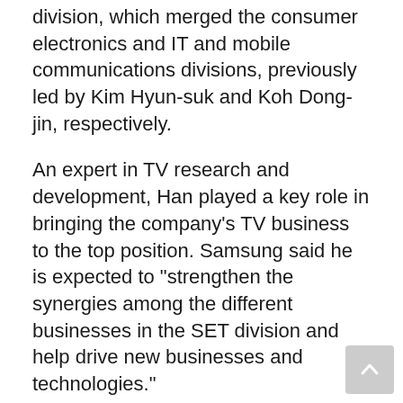division, which merged the consumer electronics and IT and mobile communications divisions, previously led by Kim Hyun-suk and Koh Dong-jin, respectively.
An expert in TV research and development, Han played a key role in bringing the company's TV business to the top position. Samsung said he is expected to "strengthen the synergies among the different businesses in the SET division and help drive new businesses and technologies."
The device solutions (DS) division will be led by Kyung Kye-hyun, who has been Samsung Electro-Mechanics CEO.
Kyung is a semiconductor design expert, having previously led the company's flash product and